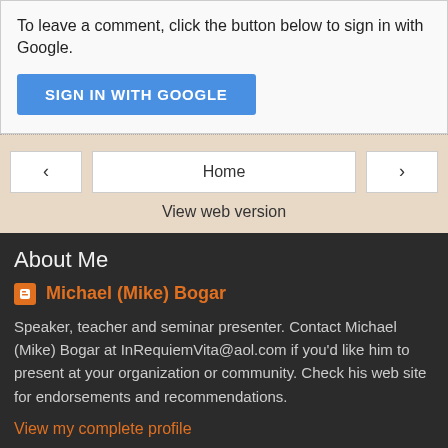To leave a comment, click the button below to sign in with Google.
[Figure (other): Blue 'SIGN IN WITH GOOGLE' button]
[Figure (other): Navigation bar with left arrow, Home button, and right arrow, plus 'View web version' link]
About Me
Michael (Mike) Bogar
Speaker, teacher and seminar presenter. Contact Michael (Mike) Bogar at InRequiemVita@aol.com if you'd like him to present at your organization or community. Check his web site for endorsements and recommendations.
View my complete profile
Powered by Blogger.